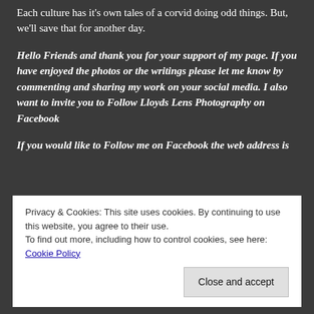Each culture has it's own tales of a corvid doing odd things. But, we'll save that for another day.
Hello Friends and thank you for your support of my page. If you have enjoyed the photos or the writings please let me know by commenting and sharing my work on your social media. I also want to invite you to Follow Lloyds Lens Photography on Facebook
If you would like to Follow me on Facebook the web address is
Privacy & Cookies: This site uses cookies. By continuing to use this website, you agree to their use.
To find out more, including how to control cookies, see here: Cookie Policy
Close and accept